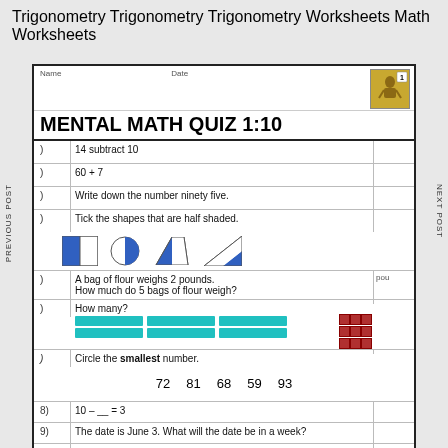Trigonometry Trigonometry Trigonometry Worksheets Math Worksheets
MENTAL MATH QUIZ 1:10
1) 14 subtract 10
2) 60 + 7
3) Write down the number ninety five.
4) Tick the shapes that are half shaded.
[Figure (illustration): Four shapes shown: a half-blue square, a half-shaded circle, a half-blue trapezoid, a half-shaded triangle]
5) A bag of flour weighs 2 pounds. How much do 5 bags of flour weigh?
6) How many? [teal interlocking cube bars and red cube grid shown]
7) Circle the smallest number. 72  81  68  59  93
8) 10 – __ = 3
9) The date is June 3. What will the date be in a week?
10) What has been done to this shape? flip  turn  or  slide
11) I have 3 nickels and 3 pennies.